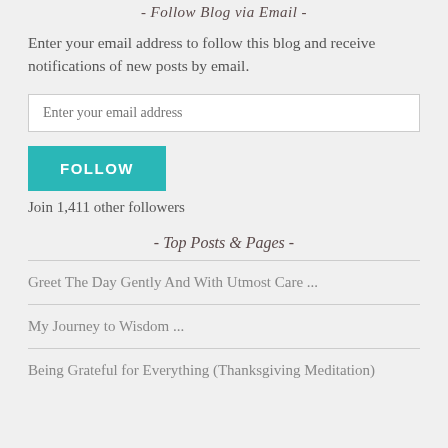- Follow Blog via Email -
Enter your email address to follow this blog and receive notifications of new posts by email.
Enter your email address
FOLLOW
Join 1,411 other followers
- Top Posts & Pages -
Greet The Day Gently And With Utmost Care ...
My Journey to Wisdom ...
Being Grateful for Everything (Thanksgiving Meditation)